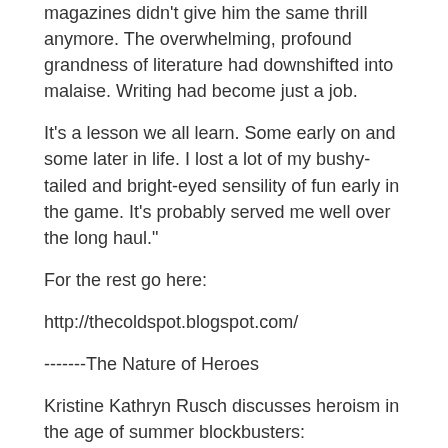magazines didn't give him the same thrill anymore. The overwhelming, profound grandness of literature had downshifted into malaise. Writing had become just a job.
It's a lesson we all learn. Some early on and some later in life. I lost a lot of my bushy-tailed and bright-eyed sensility of fun early in the game. It's probably served me well over the long haul."
For the rest go here:
http://thecoldspot.blogspot.com/
-------The Nature of Heroes
Kristine Kathryn Rusch discusses heroism in the age of summer blockbusters:
"Okay. Explained that way, I understand that the filmmakers made the right choice after all. Just like I understand the machinations that Spielberg and Lucas went through to show us that 66-year-old Harrison Ford can play an action hero.